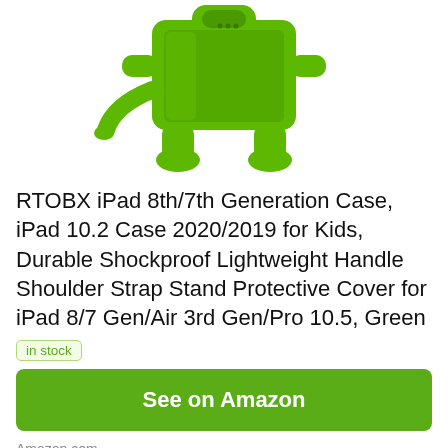[Figure (photo): Green dinosaur/animal-shaped iPad case shown from the back, standing upright on a white background. The case is bright green with a handle and built-in stand shaped like animal legs.]
RTOBX iPad 8th/7th Generation Case, iPad 10.2 Case 2020/2019 for Kids, Durable Shockproof Lightweight Handle Shoulder Strap Stand Protective Cover for iPad 8/7 Gen/Air 3rd Gen/Pro 10.5, Green
in stock
See on Amazon
Amazon.com
as of September 6, 2021 8:02 am ℹ